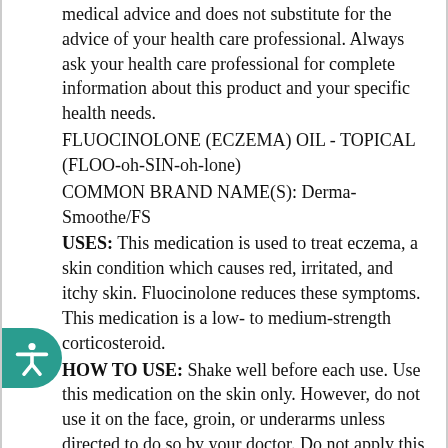medical advice and does not substitute for the advice of your health care professional. Always ask your health care professional for complete information about this product and your specific health needs.
FLUOCINOLONE (ECZEMA) OIL - TOPICAL (FLOO-oh-SIN-oh-lone)
COMMON BRAND NAME(S): Derma-Smoothe/FS
USES: This medication is used to treat eczema, a skin condition which causes red, irritated, and itchy skin. Fluocinolone reduces these symptoms. This medication is a low- to medium-strength corticosteroid.
HOW TO USE: Shake well before each use. Use this medication on the skin only. However, do not use it on the face, groin, or underarms unless directed to do so by your doctor. Do not apply this medication to the diaper area. Wash and dry your hands before using. Clean and dry the affected area. Apply a thin film of medication to the affected area and gently rub in, usually 3 times daily or as directed by your doctor. Do not bandage, cover, or wrap the area unless directed to do so by your doctor. After applying the medication, wash your hands unless you are using this medication